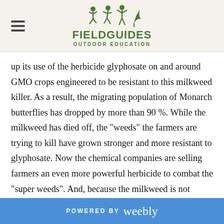FIELDGUIDES OUTDOOR EDUCATION
up its use of the herbicide glyphosate on and around GMO crops engineered to be resistant to this milkweed killer. As a result, the migrating population of Monarch butterflies has dropped by more than 90 %. While the milkweed has died off, the "weeds" the farmers are trying to kill have grown stronger and more resistant to glyphosate. Now the chemical companies are selling farmers an even more powerful herbicide to combat the "super weeds". And, because the milkweed is not herbicide resistant it will no doubt start dying at an even faster rate. Trouble for the monarch butterflies!
POWERED BY weebly